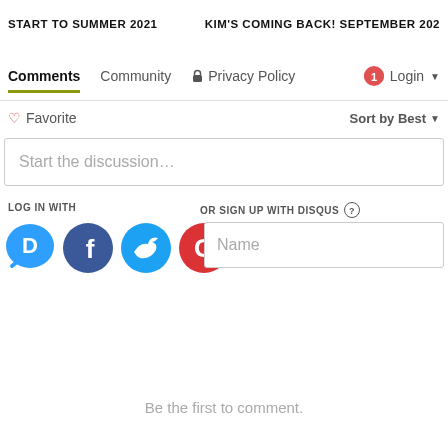START TO SUMMER 2021    KIM'S COMING BACK! SEPTEMBER 202
Comments  Community  Privacy Policy  1  Login
♡ Favorite   Sort by Best
Start the discussion...
LOG IN WITH
OR SIGN UP WITH DISQUS ?
[Figure (screenshot): Social login buttons: Disqus (blue speech bubble with D), Facebook (dark blue circle with f), Twitter (light blue circle with bird), Google (red circle with G)]
Name
Be the first to comment.